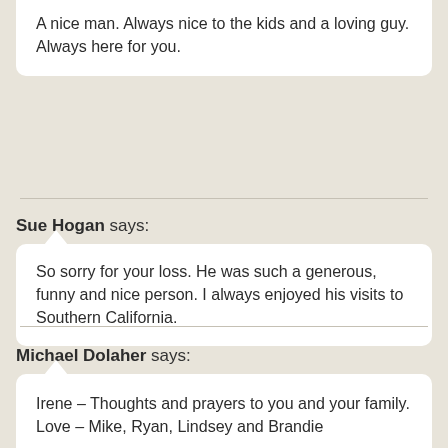A nice man. Always nice to the kids and a loving guy. Always here for you.
Sue Hogan says:
So sorry for your loss. He was such a generous, funny and nice person. I always enjoyed his visits to Southern California.
Michael Dolaher says:
Irene – Thoughts and prayers to you and your family. Love – Mike, Ryan, Lindsey and Brandie